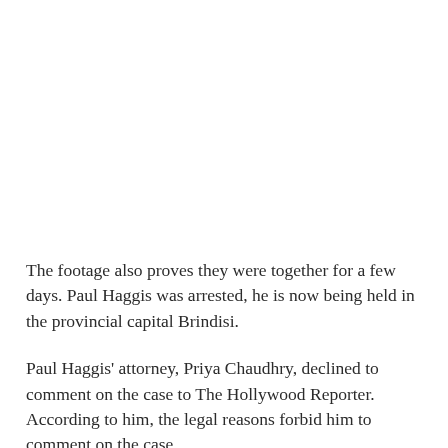The footage also proves they were together for a few days. Paul Haggis was arrested, he is now being held in the provincial capital Brindisi.
Paul Haggis' attorney, Priya Chaudhry, declined to comment on the case to The Hollywood Reporter. According to him, the legal reasons forbid him to comment on the case.